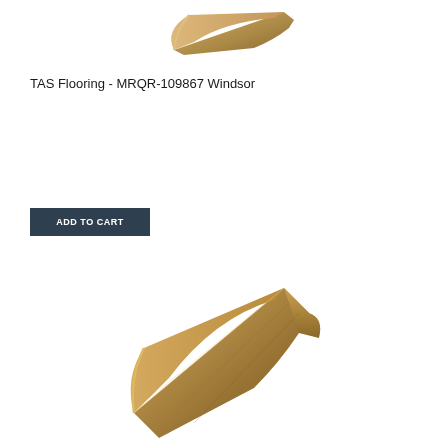[Figure (photo): Quarter round wood flooring molding piece shown at an angle, light brown/tan color, top portion of image]
TAS Flooring - MRQR-109867 Windsor
[Figure (photo): ADD TO CART button, dark navy/slate blue background with white uppercase text]
[Figure (photo): Quarter round wood flooring molding piece shown at an angle, medium brown color with visible wood grain texture, bottom portion of image]